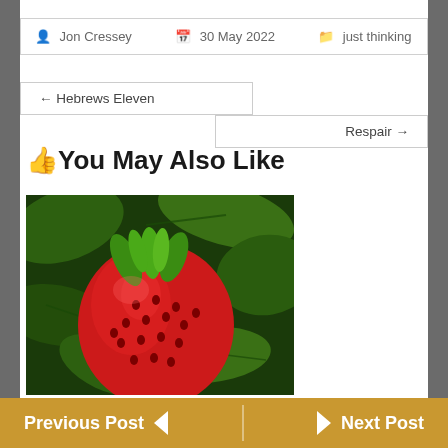Jon Cressey   30 May 2022   just thinking
← Hebrews Eleven
Respair →
👍You May Also Like
[Figure (photo): Close-up photo of a ripe red strawberry surrounded by green leaves]
Previous Post  ◄  ►  Next Post